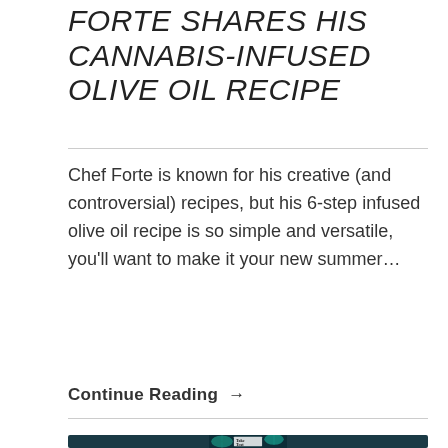FORTE SHARES HIS CANNABIS-INFUSED OLIVE OIL RECIPE
Chef Forte is known for his creative (and controversial) recipes, but his 6-step infused olive oil recipe is so simple and versatile, you'll want to make it your new summer…
Continue Reading →
[Figure (photo): Cannabis leaves in teal/green color against a dark background with a white overlay box showing partial text 'Toke Text']